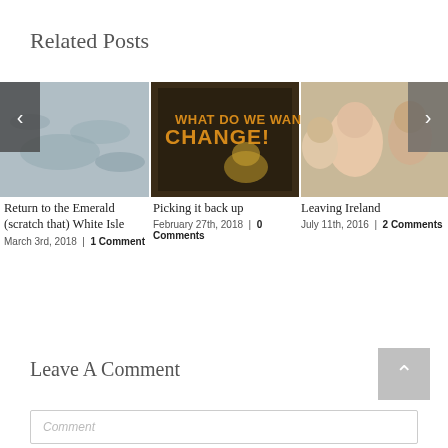Related Posts
[Figure (photo): Three blog post thumbnail images in a carousel: 1) aerial/landscape photo (snowy/grey terrain), 2) a TV screen showing 'WHAT DO WE WANT? CHANGE!' with a cat image, 3) a selfie of a woman and a man smiling]
Return to the Emerald (scratch that) White Isle
March 3rd, 2018  |  1 Comment
Picking it back up
February 27th, 2018  |  0 Comments
Leaving Ireland
July 11th, 2016  |  2 Comments
Leave A Comment
Comment